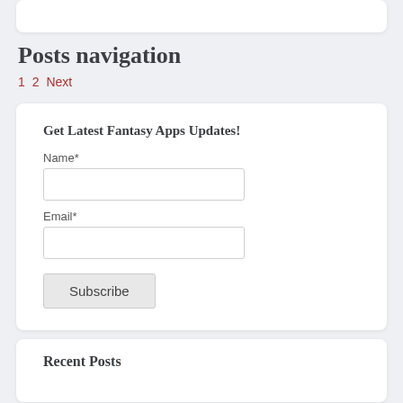Posts navigation
1 2 Next
Get Latest Fantasy Apps Updates!
Name*
Email*
Subscribe
Recent Posts